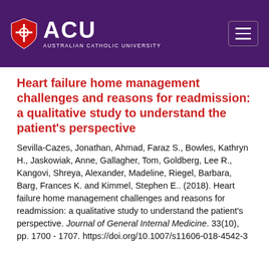ACU AUSTRALIAN CATHOLIC UNIVERSITY
Heart failure home management challenges and reasons for readmission: a qualitative study to understand the patient's perspective
Sevilla-Cazes, Jonathan, Ahmad, Faraz S., Bowles, Kathryn H., Jaskowiak, Anne, Gallagher, Tom, Goldberg, Lee R., Kangovi, Shreya, Alexander, Madeline, Riegel, Barbara, Barg, Frances K. and Kimmel, Stephen E.. (2018). Heart failure home management challenges and reasons for readmission: a qualitative study to understand the patient's perspective. Journal of General Internal Medicine. 33(10), pp. 1700 - 1707. https://doi.org/10.1007/s11606-018-4542-3